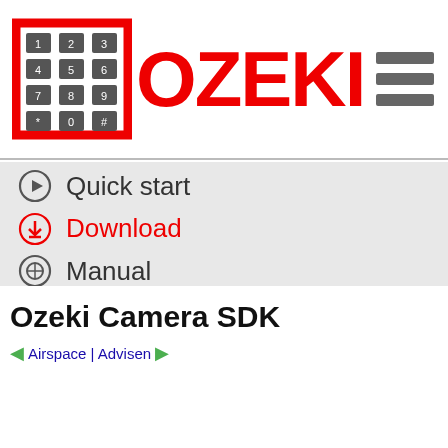[Figure (logo): Ozeki logo with keypad icon and red OZEKI text, hamburger menu icon top right]
Quick start
Download
Manual
How to buy
Contact
Sign in
Create Account
Ozeki Camera SDK
Airspace | Advisen